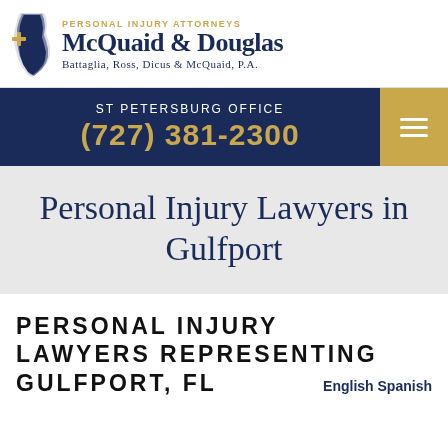[Figure (logo): McQuaid & Douglas Personal Injury Attorneys logo with Florida state shape and gold cross, firm name in dark navy serif font, subtext 'Battaglia, Ross, Dicus & McQuaid, P.A.']
ST PETERSBURG OFFICE
(727) 381-2300
Personal Injury Lawyers in Gulfport
PERSONAL INJURY LAWYERS REPRESENTING GULFPORT, FL
English Spanish